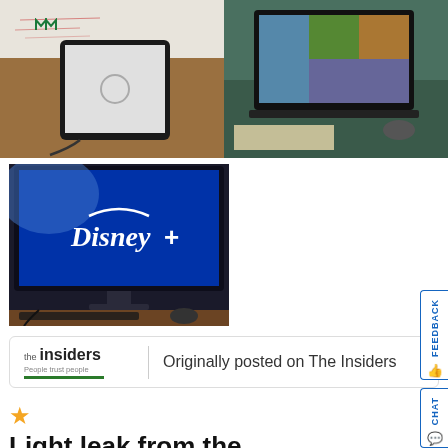[Figure (photo): Two photos side by side: left shows a tablet on a wooden desk with whiteboard in background; right shows a laptop on a desk with external display]
[Figure (photo): Photo of a monitor displaying Disney+ logo on blue background, with keyboard and mouse visible on desk]
[Figure (logo): The Insiders logo with tagline 'People trust people' and green underline]
Originally posted on The Insiders
★
Light leak from the border of the screen
Momin
7 months ago